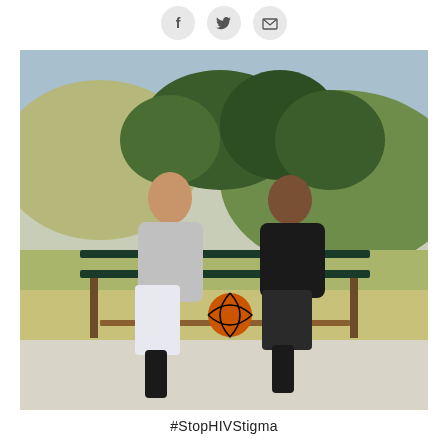[Figure (other): Social media share icons: Facebook (f), Twitter (bird), Email (envelope) in light gray circles]
[Figure (photo): Two young men sitting on a park bench outdoors, one in a gray hoodie holding a basketball, the other in a black t-shirt and shorts, fist-bumping or shaking hands, with trees and hills in the background on a sunny day]
#StopHIVStigma